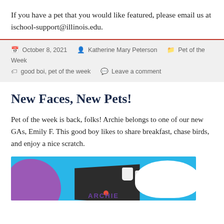If you have a pet that you would like featured, please email us at ischool-support@illinois.edu.
October 8, 2021  Katherine Mary Peterson  Pet of the Week  good boi, pet of the week  Leave a comment
New Faces, New Pets!
Pet of the week is back, folks! Archie belongs to one of our new GAs, Emily F. This good boy likes to share breakfast, chase birds, and enjoy a nice scratch.
[Figure (photo): A photo of a pet (Archie) with a bright blue background, purple blob shape on the left, a dark table surface in the center with white mugs and a red dot, and a white bone/cloud shape on the right with 'ARCHIE' text.]